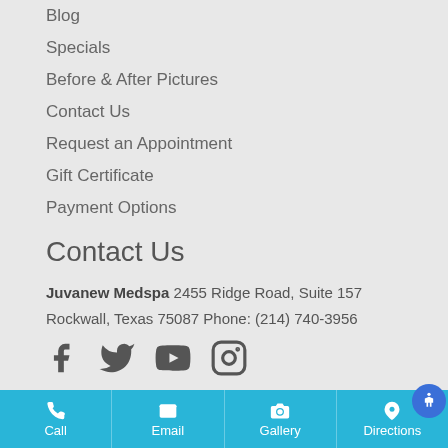Blog
Specials
Before & After Pictures
Contact Us
Request an Appointment
Gift Certificate
Payment Options
Contact Us
Juvanew Medspa 2455 Ridge Road, Suite 157 Rockwall, Texas 75087 Phone: (214) 740-3956
[Figure (other): Social media icons: Facebook, Twitter, YouTube, Instagram]
Call | Email | Gallery | Directions